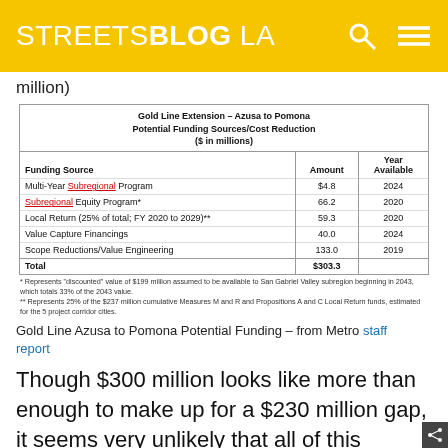STREETSBLOG LA
million)
| Funding Source | Amount | Year Available |
| --- | --- | --- |
| Multi-Year Subregional Program | $4.8 | 2024 |
| Subregional Equity Program* | 66.2 | 2020 |
| Local Return (25% of total; FY 2020 to 2029)** | 59.3 | 2020 |
| Value Capture Financings | 40.0 | 2024 |
| Scope Reductions/Value Engineering | 133.0 | 2019 |
| Total | $303.3 |  |
* Represents "discounted" value of $199 million assumed to be available to San Gabriel Valley subregion beginning in 2043, which totals 33% of the 2043 value.
** Represents 25% of the $237 million cumulative Measures M and R and Propositions A and C Local Return funds, estimated for the 5 project corridor cities.
Gold Line Azusa to Pomona Potential Funding – from Metro staff report
Though $300 million looks like more than enough to make up for a $230 million gap, it seems very unlikely that all of this potential funding would be